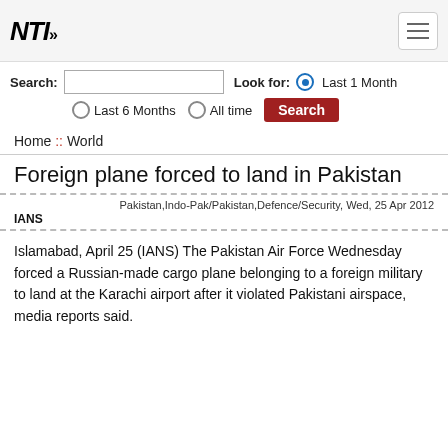NTI
Search: Look for: Last 1 Month Last 6 Months All time Search
Home :: World
Foreign plane forced to land in Pakistan
Pakistan,Indo-Pak/Pakistan,Defence/Security, Wed, 25 Apr 2012
IANS
Islamabad, April 25 (IANS) The Pakistan Air Force Wednesday forced a Russian-made cargo plane belonging to a foreign military to land at the Karachi airport after it violated Pakistani airspace, media reports said.